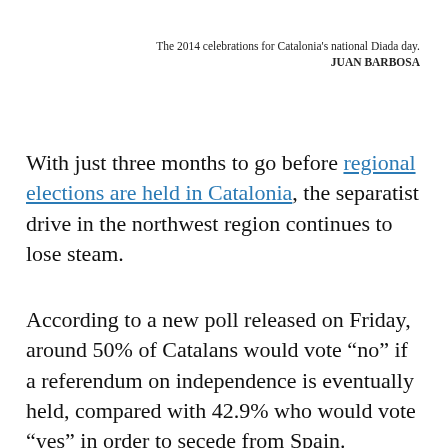The 2014 celebrations for Catalonia's national Diada day.
JUAN BARBOSA
With just three months to go before regional elections are held in Catalonia, the separatist drive in the northwest region continues to lose steam.
According to a new poll released on Friday, around 50% of Catalans would vote “no” if a referendum on independence is eventually held, compared with 42.9% who would vote “yes” in order to secede from Spain.